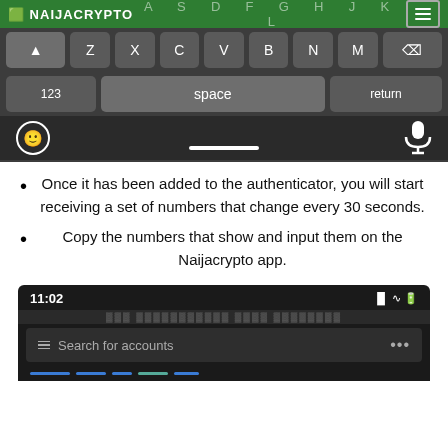[Figure (screenshot): Mobile keyboard screenshot showing bottom rows: shift, Z, X, C, V, B, N, M, backspace; then 123, space, return; and emoji/mic icons with home bar. Green header with NAIJACRYPTO logo and A S D F G H J K L keys.]
Once it has been added to the authenticator, you will start receiving a set of numbers that change every 30 seconds.
Copy the numbers that show and input them on the Naijacrypto app.
[Figure (screenshot): Mobile app screenshot showing time 11:02 with signal/wifi/battery icons, a search bar with hamburger icon and 'Search for accounts' placeholder text and three-dot menu.]